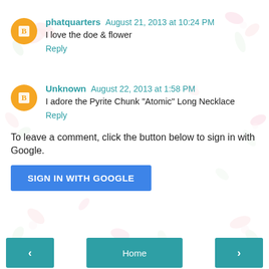phatquarters  August 21, 2013 at 10:24 PM
I love the doe & flower
Reply
Unknown  August 22, 2013 at 1:58 PM
I adore the Pyrite Chunk "Atomic" Long Necklace
Reply
To leave a comment, click the button below to sign in with Google.
SIGN IN WITH GOOGLE
< | Home | >